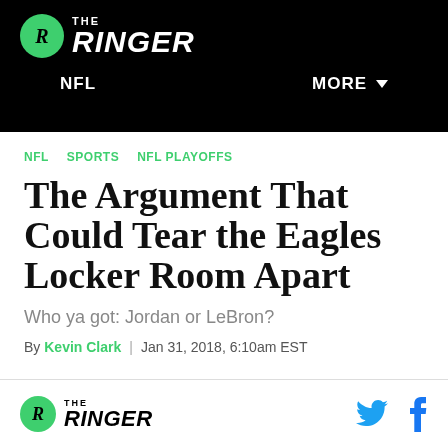THE RINGER — NFL | MORE
NFL  SPORTS  NFL PLAYOFFS
The Argument That Could Tear the Eagles Locker Room Apart
Who ya got: Jordan or LeBron?
By Kevin Clark | Jan 31, 2018, 6:10am EST
THE RINGER